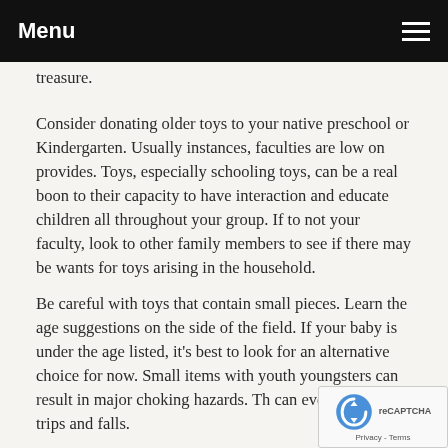Menu
treasure.
Consider donating older toys to your native preschool or Kindergarten. Usually instances, faculties are low on provides. Toys, especially schooling toys, can be a real boon to their capacity to have interaction and educate children all throughout your group. If to not your faculty, look to other family members to see if there may be wants for toys arising in the household.
Be careful with toys that contain small pieces. Learn the age suggestions on the side of the field. If your baby is under the age listed, it's best to look for an alternative choice for now. Small items with youth youngsters can result in major choking hazards. Th can even trigger trips and falls.